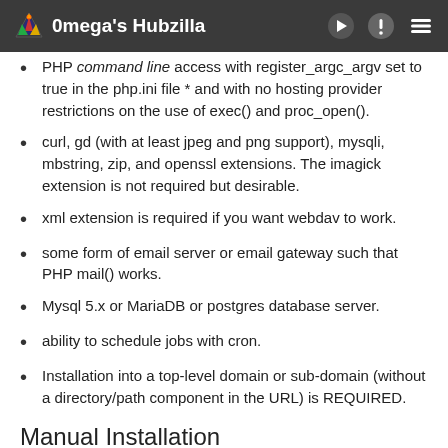0mega's Hubzilla
PHP command line access with register_argc_argv set to true in the php.ini file * and with no hosting provider restrictions on the use of exec() and proc_open().
curl, gd (with at least jpeg and png support), mysqli, mbstring, zip, and openssl extensions. The imagick extension is not required but desirable.
xml extension is required if you want webdav to work.
some form of email server or email gateway such that PHP mail() works.
Mysql 5.x or MariaDB or postgres database server.
ability to schedule jobs with cron.
Installation into a top-level domain or sub-domain (without a directory/path component in the URL) is REQUIRED.
Manual Installation